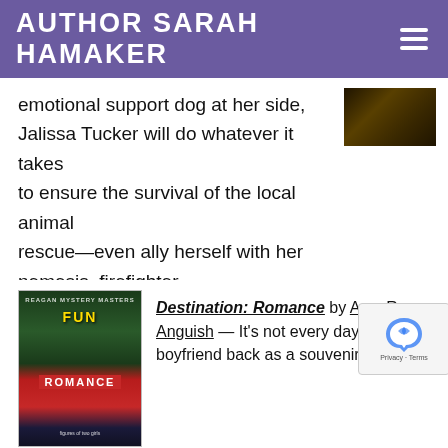AUTHOR SARAH HAMAKER
emotional support dog at her side, Jalissa Tucker will do whatever it takes to ensure the survival of the local animal rescue—even ally herself with her nemesis, firefighter Jeremy Rider. As working together dredges up old hurts, putting the past aside could be the key to their future joy. But can Jalissa resist falling for the man she's always considered the enemy. (Contemporary Romance from Love Inspired (Harlequin))
[Figure (photo): Small thumbnail image of a book cover or outdoor scene, dark foliage tones]
[Figure (photo): Book cover for Destination: Romance showing two young women with luggage, green and red background]
Destination: Romance by Amy R Anguish — It's not every day you b boyfriend back as a souvenir. Katie